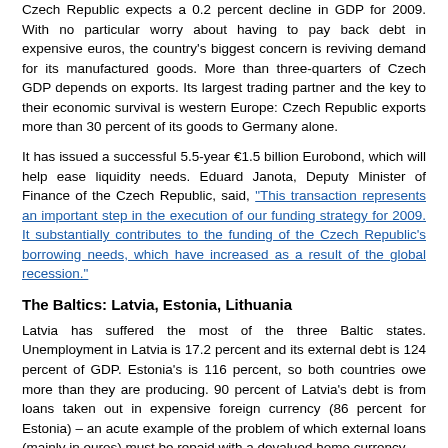Czech Republic expects a 0.2 percent decline in GDP for 2009. With no particular worry about having to pay back debt in expensive euros, the country's biggest concern is reviving demand for its manufactured goods. More than three-quarters of Czech GDP depends on exports. Its largest trading partner and the key to their economic survival is western Europe: Czech Republic exports more than 30 percent of its goods to Germany alone.
It has issued a successful 5.5-year €1.5 billion Eurobond, which will help ease liquidity needs. Eduard Janota, Deputy Minister of Finance of the Czech Republic, said, "This transaction represents an important step in the execution of our funding strategy for 2009. It substantially contributes to the funding of the Czech Republic's borrowing needs, which have increased as a result of the global recession."
The Baltics: Latvia, Estonia, Lithuania
Latvia has suffered the most of the three Baltic states. Unemployment in Latvia is 17.2 percent and its external debt is 124 percent of GDP. Estonia's is 116 percent, so both countries owe more than they are producing. 90 percent of Latvia's debt is from loans taken out in expensive foreign currency (86 percent for Estonia) – an acute example of the problem of which external loans (mainly in euros) must be repaid with a devalued home currency.
Lithuania is shrinking economically to a dramatic degree: a 22.4 percent decline in GDP in the second quarter. Lithuania's external debt is the smallest among the Baltics, but 66 percent of it is foreign-denominated. Latvia is the only Baltic state to have resorted to taking out a loan from